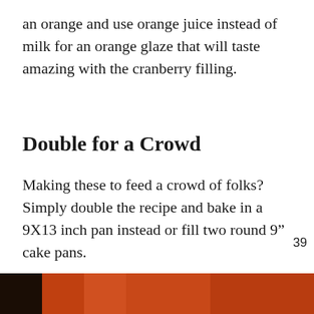an orange and use orange juice instead of milk for an orange glaze that will taste amazing with the cranberry filling.
Double for a Crowd
Making these to feed a crowd of folks? Simply double the recipe and bake in a 9X13 inch pan instead or fill two round 9" cake pans.
Other Recipes You Might Like
[Figure (photo): Orange/dark food photo strip at bottom of page]
[Figure (other): UI widget: heart/like button with count 39, share button, and 'What's Next' widget showing Dried Cranberry... recipe thumbnail]